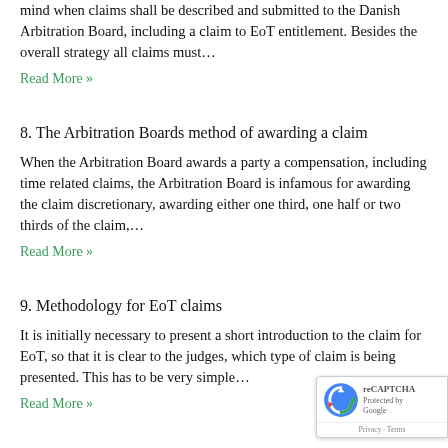mind when claims shall be described and submitted to the Danish Arbitration Board, including a claim to EoT entitlement. Besides the overall strategy all claims must…
Read More »
8. The Arbitration Boards method of awarding a claim
When the Arbitration Board awards a party a compensation, including time related claims, the Arbitration Board is infamous for awarding the claim discretionary, awarding either one third, one half or two thirds of the claim,…
Read More »
9. Methodology for EoT claims
It is initially necessary to present a short introduction to the claim for EoT, so that it is clear to the judges, which type of claim is being presented. This has to be very simple…
Read More »